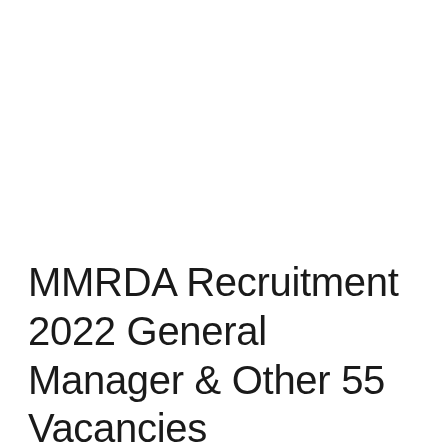MMRDA Recruitment 2022 General Manager & Other 55 Vacancies